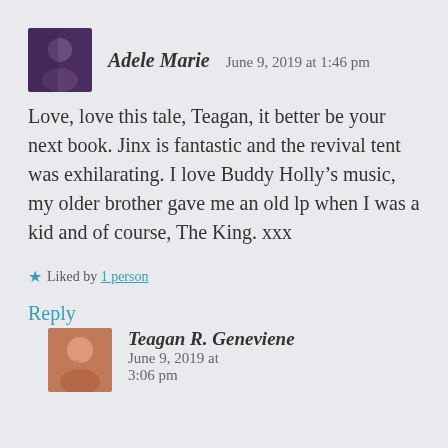Adele Marie   June 9, 2019 at 1:46 pm
Love, love this tale, Teagan, it better be your next book. Jinx is fantastic and the revival tent was exhilarating. I love Buddy Holly’s music, my older brother gave me an old lp when I was a kid and of course, The King. xxx
★ Liked by 1 person
Reply
Teagan R. Geneviene   June 9, 2019 at 3:06 pm